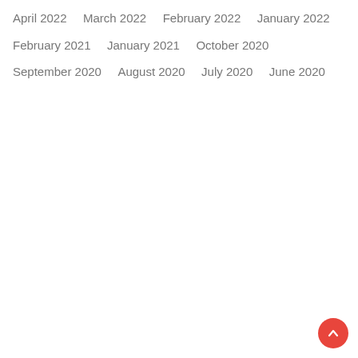April 2022
March 2022
February 2022
January 2022
February 2021
January 2021
October 2020
September 2020
August 2020
July 2020
June 2020